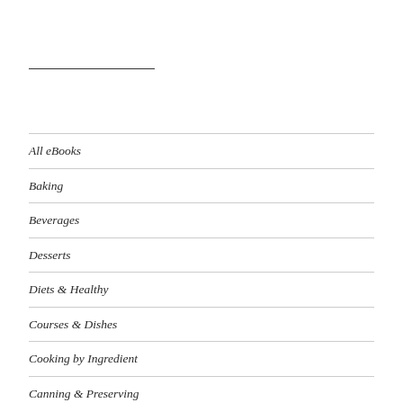All eBooks
Baking
Beverages
Desserts
Diets & Healthy
Courses & Dishes
Cooking by Ingredient
Canning & Preserving
Holiday & Party Cooking